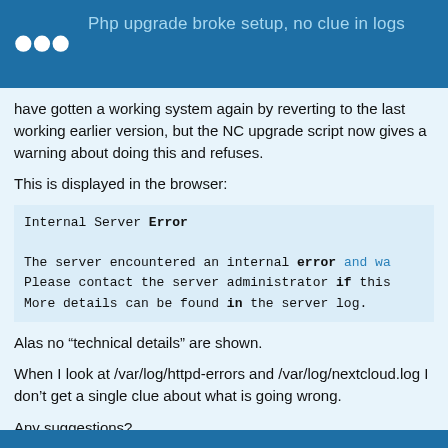Php upgrade broke setup, no clue in logs
have gotten a working system again by reverting to the last working earlier version, but the NC upgrade script now gives a warning about doing this and refuses.
This is displayed in the browser:
Internal Server Error

The server encountered an internal error and wa...
Please contact the server administrator if this...
More details can be found in the server log.
Alas no “technical details” are shown.
When I look at /var/log/httpd-errors and /var/log/nextcloud.log I don’t get a single clue about what is going wrong.
Any suggestions?